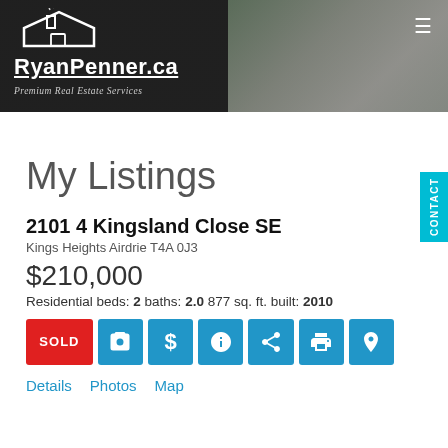[Figure (logo): RyanPenner.ca Premium Real Estate Services logo and website header banner with interior room background]
My Listings
2101 4 Kingsland Close SE
Kings Heights Airdrie T4A 0J3
$210,000
Residential beds: 2 baths: 2.0 877 sq. ft. built: 2010
SOLD [camera icon] [dollar icon] [info icon] [share icon] [print icon] [location icon]
Details   Photos   Map